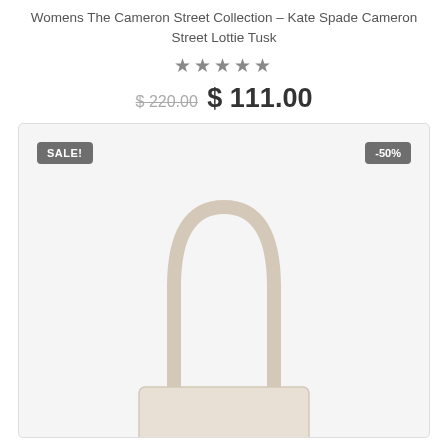Womens The Cameron Street Collection – Kate Spade Cameron Street Lottie Tusk
★★★★★
$ 220.00  $ 111.00
[Figure (photo): Product photo of Kate Spade Cameron Street Lottie Tusk handbag in tusk/cream color, showing the top handle arch of the bag against a light gray background. A 'SALE!' badge appears in the top-left corner and a '-50%' badge in the top-right corner.]